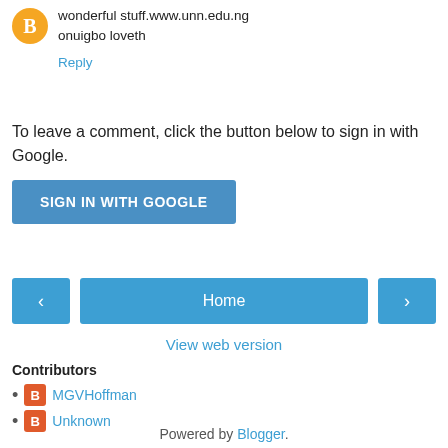wonderful stuff.www.unn.edu.ng
onuigbo loveth
Reply
To leave a comment, click the button below to sign in with Google.
[Figure (other): SIGN IN WITH GOOGLE button - blue rectangular button with white uppercase text]
[Figure (other): Navigation bar with left arrow button, Home button, and right arrow button, all in blue]
View web version
Contributors
MGVHoffman
Unknown
Powered by Blogger.